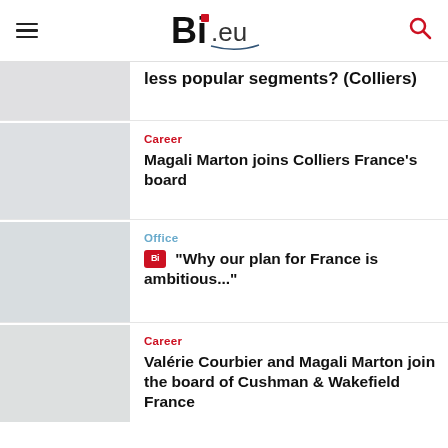Bi.eu
less popular segments? (Colliers)
Career
Magali Marton joins Colliers France's board
Office
"Why our plan for France is ambitious..."
Career
Valérie Courbier and Magali Marton join the board of Cushman & Wakefield France